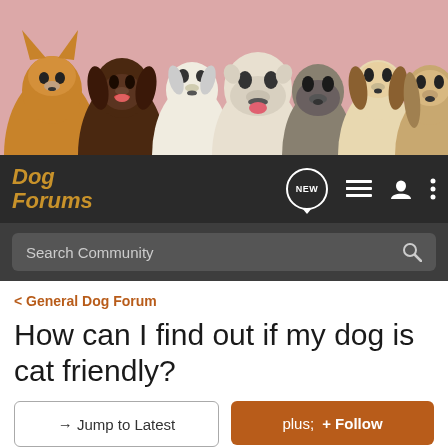[Figure (photo): Banner showing multiple dog breeds (Corgi, Labrador, Jack Russell, Bulldog, Pug, Beagle, Basset Hound) facing camera on pink background]
Dog Forums — NEW button, list icon, user icon, menu icon — Search Community
< General Dog Forum
How can I find out if my dog is cat friendly?
→ Jump to Latest   ✚ Follow
1 - 3 of 3 Posts